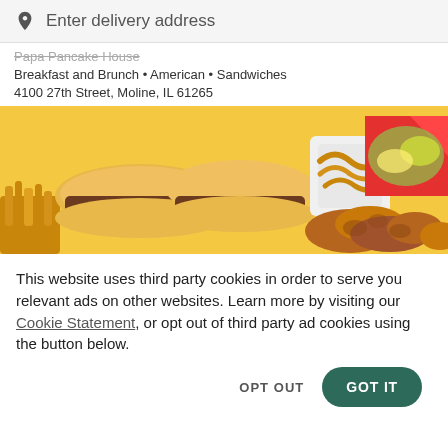Enter delivery address
Breakfast and Brunch • American • Sandwiches
4100 27th Street, Moline, IL 61265
[Figure (photo): Food photo showing burgers, sandwiches, curly fries, and fried chicken on a yellow/orange background]
This website uses third party cookies in order to serve you relevant ads on other websites. Learn more by visiting our Cookie Statement, or opt out of third party ad cookies using the button below.
OPT OUT
GOT IT